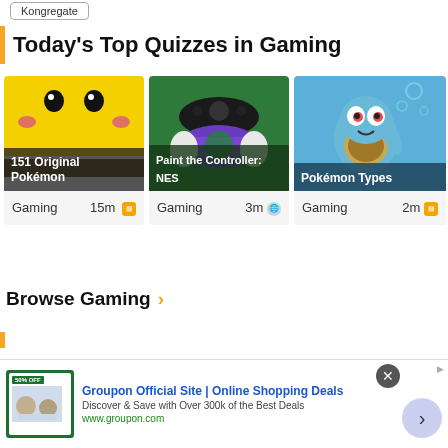Kongregate
Today's Top Quizzes in Gaming
[Figure (screenshot): Quiz card: 151 Original Pokémon - shows Pikachu face on yellow background with brown lower section. Gaming | 15m]
[Figure (screenshot): Quiz card: Paint the Controller: NES - shows gaming controllers on green background. Gaming | 3m]
[Figure (screenshot): Quiz card: Pokémon Types - shows Squirtle on blue background. Gaming | 2m]
Browse Gaming ›
[Figure (screenshot): Advertisement banner: Groupon Official Site | Online Shopping Deals - Discover & Save with Over 300k of the Best Deals - www.groupon.com]